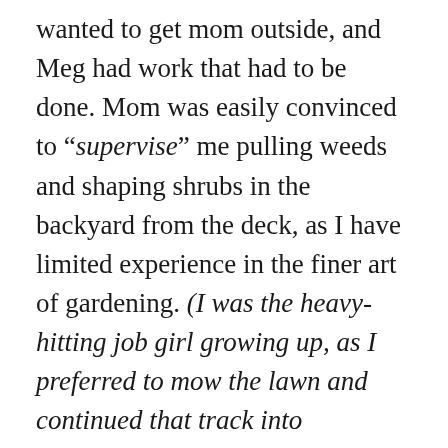wanted to get mom outside, and Meg had work that had to be done. Mom was easily convinced to “supervise” me pulling weeds and shaping shrubs in the backyard from the deck, as I have limited experience in the finer art of gardening. (I was the heavy-hitting job girl growing up, as I preferred to mow the lawn and continued that track into adulthood) Any way, mom was an excellent tutor, patiently pointing out what were weeds and what were not, as I pulled and dug and collected and shaped. She was all smiles as she soaked in the warm rays of the morning sunshine and breathed in the familiar fresh air. A short while after lunch, mom had a follow up appointment with her new primary care physician. We had